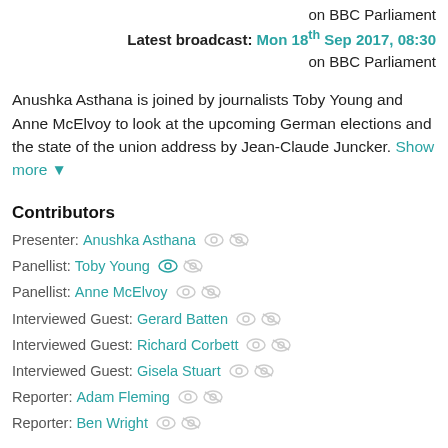on BBC Parliament
Latest broadcast: Mon 18th Sep 2017, 08:30
on BBC Parliament
Anushka Asthana is joined by journalists Toby Young and Anne McElvoy to look at the upcoming German elections and the state of the union address by Jean-Claude Juncker. Show more ▼
Contributors
Presenter: Anushka Asthana
Panellist: Toby Young
Panellist: Anne McElvoy
Interviewed Guest: Gerard Batten
Interviewed Guest: Richard Corbett
Interviewed Guest: Gisela Stuart
Reporter: Adam Fleming
Reporter: Ben Wright